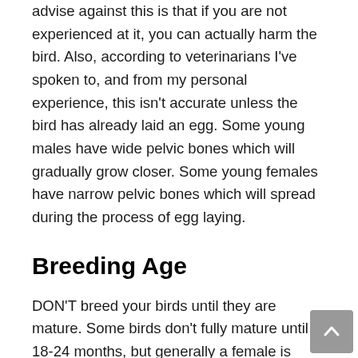advise against this is that if you are not experienced at it, you can actually harm the bird. Also, according to veterinarians I've spoken to, and from my personal experience, this isn't accurate unless the bird has already laid an egg. Some young males have wide pelvic bones which will gradually grow closer. Some young females have narrow pelvic bones which will spread during the process of egg laying.
Breeding Age
DON'T breed your birds until they are mature. Some birds don't fully mature until 18-24 months, but generally a female is mature at 18 months and males at 12-15 months. Their bodies can produce eggs as